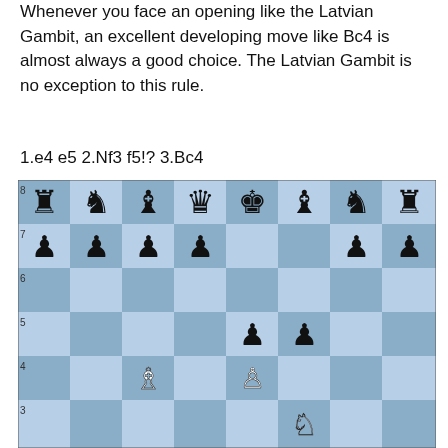Whenever you face an opening like the Latvian Gambit, an excellent developing move like Bc4 is almost always a good choice. The Latvian Gambit is no exception to this rule.
1.e4 e5 2.Nf3 f5!? 3.Bc4
[Figure (other): Chess board diagram showing position after 1.e4 e5 2.Nf3 f5!? 3.Bc4 in the Latvian Gambit. Black pieces on rank 8: Ra8, Nb8, Bc8, Qd8, Ke8, Bf8, Ng8, Rh8. Black pawns on rank 7: a7, b7, c7, d7, g7, h7. Black pawn on e5 and f5 on rank 5. White bishop on c4, white pawn on e4 on rank 4. White knight on f3 on rank 3.]